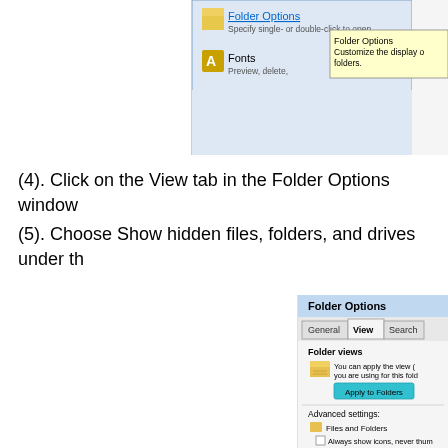[Figure (screenshot): Partial screenshot of Windows Control Panel showing Folder Options item highlighted with a tooltip reading 'Folder Options - Customize the display of folders' and Fonts item below it.]
(4). Click on the View tab in the Folder Options window
(5). Choose Show hidden files, folders, and drives under th
[Figure (screenshot): Screenshot of the Folder Options dialog window showing General, View, and Search tabs with View tab selected. Shows Folder views section with Apply to Folders button, and Advanced settings section showing Files and Folders with Always show icons, never thumbnails option.]